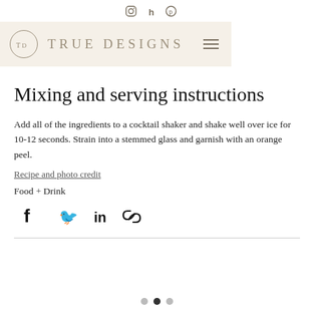Social icons: Instagram, Houzz, Pinterest
[Figure (logo): True Designs logo with circular TD monogram, brand name TRUE DESIGNS, and hamburger menu icon on a beige background]
Mixing and serving instructions
Add all of the ingredients to a cocktail shaker and shake well over ice for 10-12 seconds. Strain into a stemmed glass and garnish with an orange peel.
Recipe and photo credit
Food + Drink
[Figure (infographic): Social share icons: Facebook, Twitter, LinkedIn, Link/chain]
[Figure (infographic): Carousel dots: three dots, middle one active/filled dark]